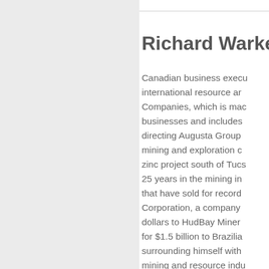Richard Warke'
Canadian business executive in international resource and Companies, which is made businesses and includes directing Augusta Group mining and exploration c zinc project south of Tucs 25 years in the mining in that have sold for record Corporation, a company dollars to HudBay Miner for $1.5 billion to Brazili surrounding himself with mining and resource indu know their craft and are